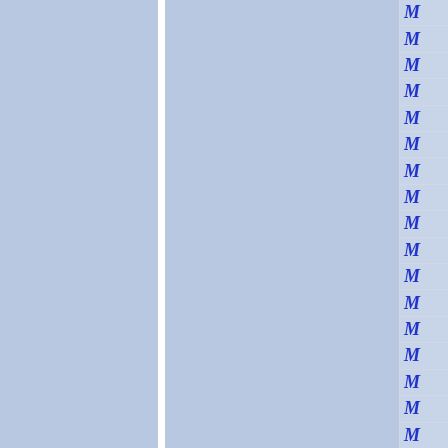[Figure (other): Page layout showing two large light blue panels separated by a white vertical divider, with a right-side column containing rows of italic blue letter M characters separated by thin horizontal lines.]